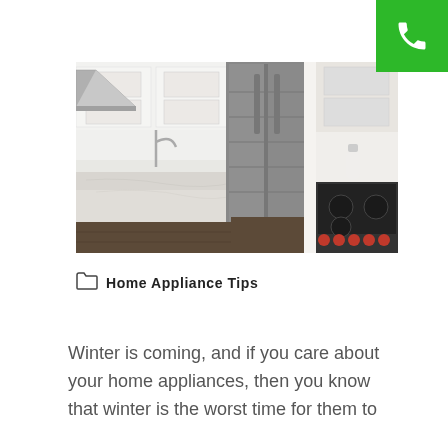[Figure (photo): Modern white kitchen with stainless steel appliances including a large side-by-side refrigerator, a gas range with red knobs, pendant range hood, marble island countertop, and white cabinetry]
Home Appliance Tips
Winter is coming, and if you care about your home appliances, then you know that winter is the worst time for them to